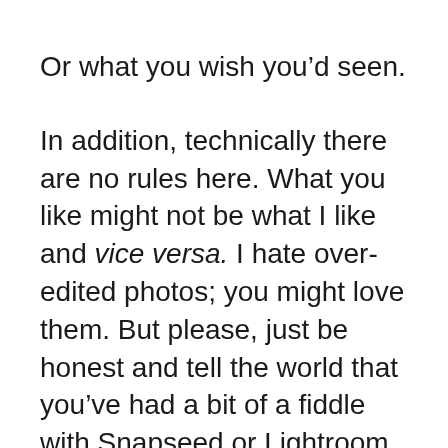Or what you wish you’d seen.
In addition, technically there are no rules here. What you like might not be what I like and vice versa. I hate over-edited photos; you might love them. But please, just be honest and tell the world that you’ve had a bit of a fiddle with Snapseed or Lightroom. Own your edits. You wouldn’t expect to get away with riding a 1000cc Honda CBR down the Olympic sprint track and still take away the gold